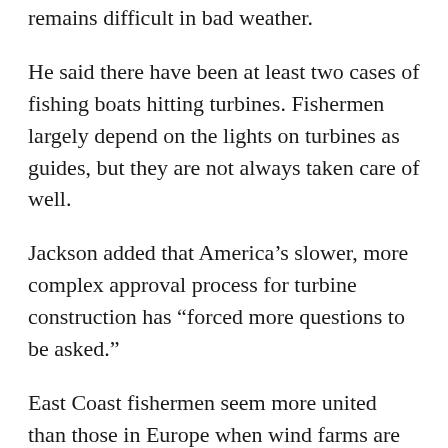remains difficult in bad weather.
He said there have been at least two cases of fishing boats hitting turbines. Fishermen largely depend on the lights on turbines as guides, but they are not always taken care of well.
Jackson added that America’s slower, more complex approval process for turbine construction has “forced more questions to be asked.”
East Coast fishermen seem more united than those in Europe when wind farms are being developed.
“If fishermen can be organized and be allowed to have input into the earliest parts of the planning process, then there should be a way forward,” Jackson said.